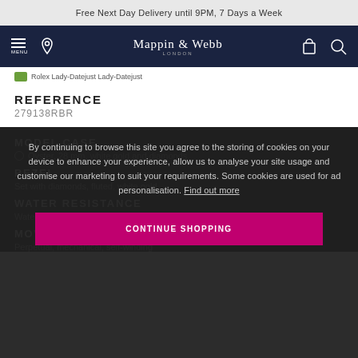Free Next Day Delivery until 9PM, 7 Days a Week
[Figure (screenshot): Mappin & Webb navigation bar with hamburger menu, location pin, brand logo, bag and search icons on dark navy background]
[Figure (screenshot): Rolex Lady-Datejust breadcrumb thumbnail image]
REFERENCE
279138RBR
MODEL CASE
Oyster, 28 mm, white gold and diamonds
BEZEL
Set with diamonds, fluted, white gold
WATER RESISTANCE
Waterproof to 100 metres / 330 feet
MOVEMENT
Perpetual, mechanical, self-winding
By continuing to browse this site you agree to the storing of cookies on your device to enhance your experience, allow us to analyse your site usage and customise our marketing to suit your requirements. Some cookies are used for ad personalisation. Find out more
CONTINUE SHOPPING